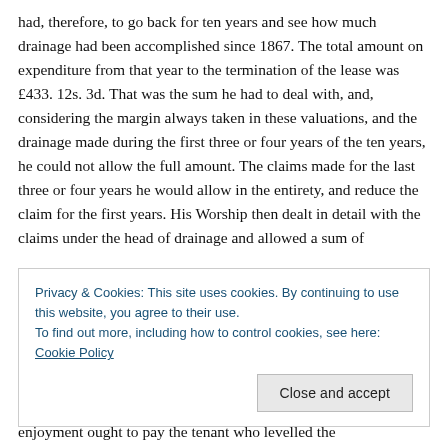had, therefore, to go back for ten years and see how much drainage had been accomplished since 1867. The total amount on expenditure from that year to the termination of the lease was £433. 12s. 3d. That was the sum he had to deal with, and, considering the margin always taken in these valuations, and the drainage made during the first three or four years of the ten years, he could not allow the full amount. The claims made for the last three or four years he would allow in the entirety, and reduce the claim for the first years. His Worship then dealt in detail with the claims under the head of drainage and allowed a sum of
Privacy & Cookies: This site uses cookies. By continuing to use this website, you agree to their use.
To find out more, including how to control cookies, see here: Cookie Policy
enjoyment ought to pay the tenant who levelled the